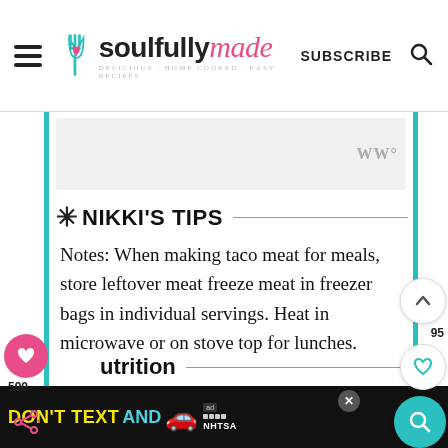soulfully made | SUBSCRIBE
✳ NIKKI'S TIPS
Notes: When making taco meat for meals, store leftover meat freeze meat in freezer bags in individual servings. Heat in microwave or on stove top for lunches.
Nutrition
DON'T TEXT AND [car emoji] ad NHTSA